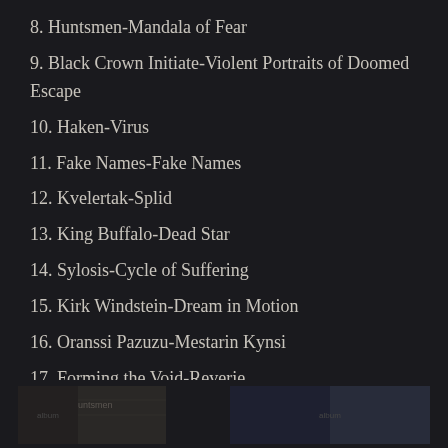8. Huntsmen-Mandala of Fear
9. Black Crown Initiate-Violent Portraits of Doomed Escape
10. Haken-Virus
11. Fake Names-Fake Names
12. Kvelertak-Splid
13. King Buffalo-Dead Star
14. Sylosis-Cycle of Suffering
15. Kirk Windstein-Dream in Motion
16. Oranssi Pazuzu-Mestarin Kynsi
17. Forming the Void-Reverie
18. Lamb of God-Lamb of God
19. Demons and Wizards-III
20. Killer Be Killed-Reluctant Hero
[Figure (photo): Partial album artwork thumbnails visible at the bottom of the page]